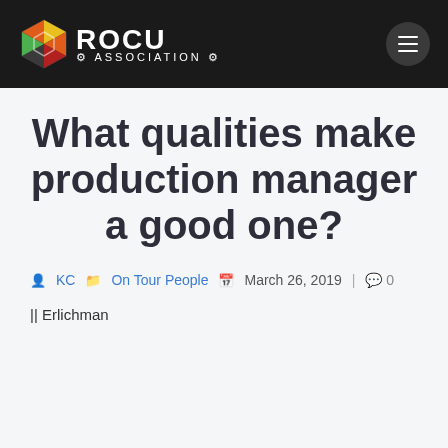[Figure (logo): ROCU Association logo with colorful hexagonal emblem and white text on black header bar, with hamburger menu button on the right]
What qualities make production manager a good one?
KC  On Tour People  March 26, 2019  |  0
|| Erlichman